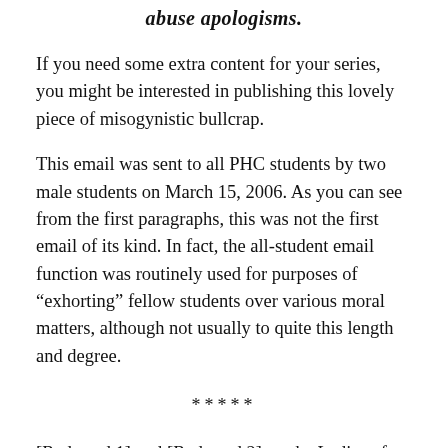abuse apologisms.
If you need some extra content for your series, you might be interested in publishing this lovely piece of misogynistic bullcrap.
This email was sent to all PHC students by two male students on March 15, 2006. As you can see from the first paragraphs, this was not the first email of its kind. In fact, the all-student email function was routinely used for purposes of “exhorting” fellow students over various moral matters, although not usually to quite this length and degree.
*****
[Redacted 1] and [Redacted 2], to the Ladies of Patrick